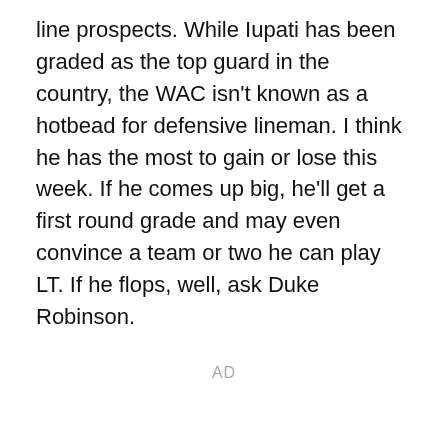line prospects. While Iupati has been graded as the top guard in the country, the WAC isn't known as a hotbead for defensive lineman. I think he has the most to gain or lose this week. If he comes up big, he'll get a first round grade and may even convince a team or two he can play LT. If he flops, well, ask Duke Robinson.
AD